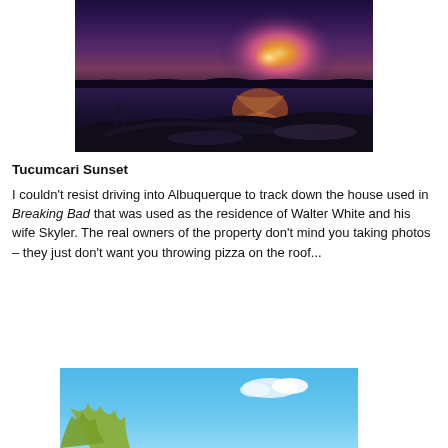[Figure (photo): Sunset over a lake with driftwood in the foreground; dramatic purple and orange sky with glowing light on the water surface]
Tucumcari Sunset
I couldn't resist driving into Albuquerque to track down the house used in Breaking Bad that was used as the residence of Walter White and his wife Skyler. The real owners of the property don't mind you taking photos – they just don't want you throwing pizza on the roof...
[Figure (photo): Partial view of a building or house under a bright blue sky with some tree branches visible at the bottom]